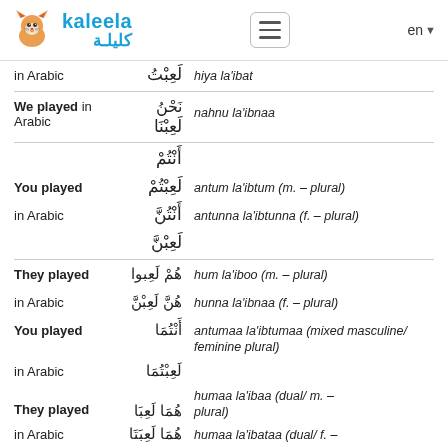kaleela / كليلة — en
in Arabic — لَعِبْتُ — hiya la'ibat
We played in Arabic — نَحْنُ لَعِبْنَا — nahnu la'ibnaa
أَنْتُمْ
You played in Arabic — لَعِبْتُمْ / أَنْتُنَّ لَعِبْتُنَّ — antum la'ibtum (m. – plural) / antunna la'ibtunna (f. – plural)
لَعِبْنَّ
They played in Arabic — هُمْ لَعِبوا / هُنَّ لَعِبْنَّ — hum la'iboo (m. – plural) / hunna la'ibnaa (f. – plural)
You played in Arabic — أَنْتُمَا لَعِبْتُمَا — antumaa la'ibtumaa (mixed masculine/ feminine plural)
They played in Arabic — هُمَا لَعِبَا / هُمَا لَعِبَتَا — humaa la'ibaa (dual/ m. – plural) / humaa la'ibataa (dual/ f. – plural)